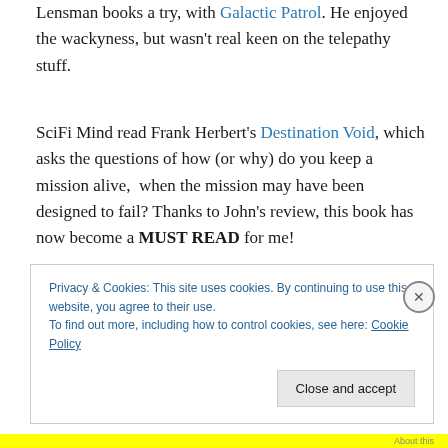Lensman books a try, with Galactic Patrol. He enjoyed the wackyness, but wasn't real keen on the telepathy stuff.
SciFi Mind read Frank Herbert's Destination Void, which asks the questions of how (or why) do you keep a mission alive,  when the mission may have been designed to fail? Thanks to John's review, this book has now become a MUST READ for me!
Privacy & Cookies: This site uses cookies. By continuing to use this website, you agree to their use.
To find out more, including how to control cookies, see here: Cookie Policy